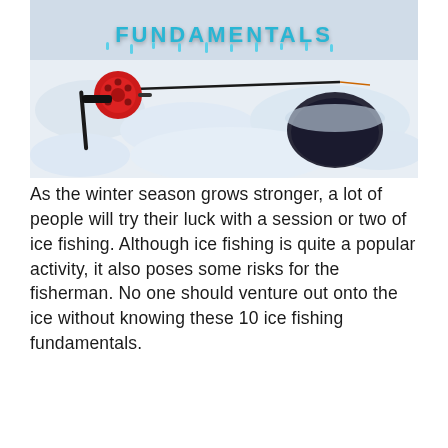[Figure (photo): Photo of an ice fishing rod with a red reel lying on snow next to a round ice fishing hole. Text 'FUNDAMENTALS' appears in icy blue letters at the top of the image.]
As the winter season grows stronger, a lot of people will try their luck with a session or two of ice fishing. Although ice fishing is quite a popular activity, it also poses some risks for the fisherman. No one should venture out onto the ice without knowing these 10 ice fishing fundamentals.